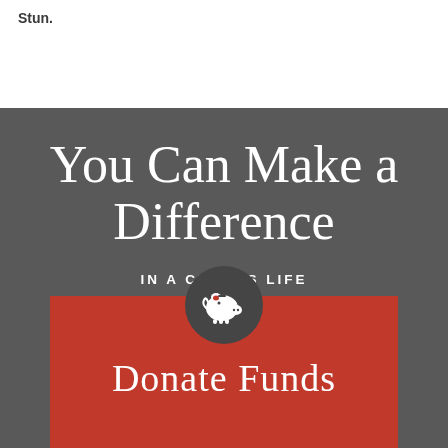Stun.
You Can Make a Difference
IN A CHILD'S LIFE
[Figure (illustration): Piggy bank icon in white on a dark circular background, inside a red rectangle. Below the icon is the beginning of the text 'Donate Funds'.]
Donate Funds